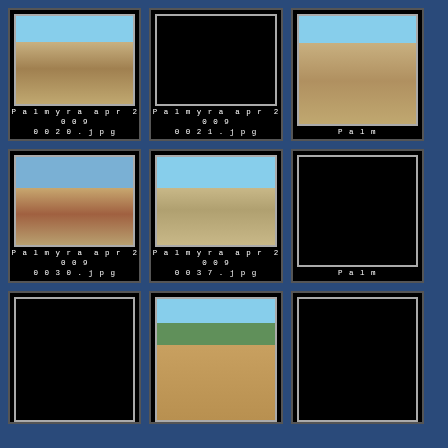[Figure (photo): Thumbnail of Palmyra ruins - wide desert view with columns]
Palmyra apr 2009
0020.jpg
[Figure (photo): Thumbnail - black/dark image]
Palmyra apr 2009
0021.jpg
[Figure (photo): Thumbnail - partial view of Palmyra ruins (cropped right edge)]
Palm...
[Figure (photo): Thumbnail of stone tower ruins at Palmyra against blue sky]
Palmyra apr 2009
0030.jpg
[Figure (photo): Thumbnail of Palmyra tomb ruins with mountain in background]
Palmyra apr 2009
0037.jpg
[Figure (photo): Thumbnail - partially visible Palmyra image (cropped right edge)]
Palm...
[Figure (photo): Thumbnail - black image]
[Figure (photo): Thumbnail of Palmyra castle/citadel with palm trees and green vegetation]
[Figure (photo): Thumbnail - black/dark image (cropped right edge)]